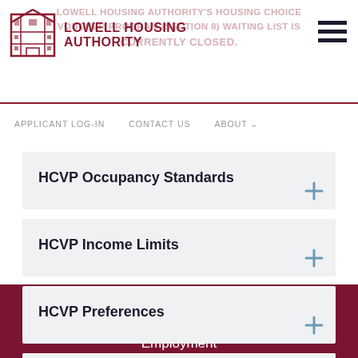Lowell Housing Authority
LOWELL HOUSING AUTHORITY'S HOUSING CHOICE VOUCHER PROGRAM (SECTION 8) WAITING LIST IS CURRENTLY CLOSED.
APPLICANT LOG-IN   CONTACT US   ABOUT
HCVP Occupancy Standards
HCVP Income Limits
HCVP Preferences
HCVP Apply
Privacy Statement
Employment